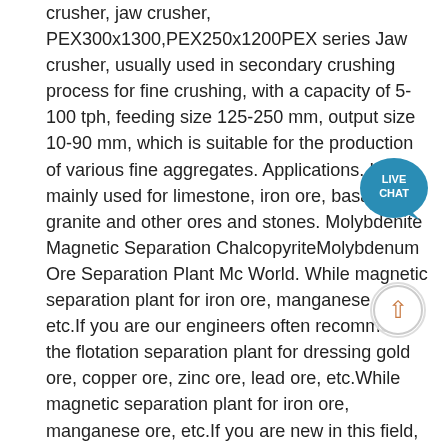crusher, jaw crusher, PEX300x1300,PEX250x1200PEX series Jaw crusher, usually used in secondary crushing process for fine crushing, with a capacity of 5-100 tph, feeding size 125-250 mm, output size 10-90 mm, which is suitable for the production of various fine aggregates. Applications. It is mainly used for limestone, iron ore, basalt, granite and other ores and stones. Molybdenite Magnetic Separation ChalcopyriteMolybdenum Ore Separation Plant Mc World. While magnetic separation plant for iron ore, manganese ore, etc.If you are our engineers often recommend the flotation separation plant for dressing gold ore, copper ore, zinc ore, lead ore, etc.While magnetic separation plant for iron ore, manganese ore, etc.If you are new in this field, we can help you to become familiar with the details. Ferro Molybdenum Casting Jaw Crusherferro molybdenum jaw crusher with high capacity - VETURAferro molybdenum jaw crusher with high capacity,A wide range of Double Toggle Jaw Crushers 300mm x 175mm to 1500mm x
[Figure (other): Live chat button badge — a teal/blue circle with 'LIVE CHAT' text and a speech bubble tail icon]
[Figure (other): Scroll-to-top button — a circle with an upward arrow in orange/tan color]